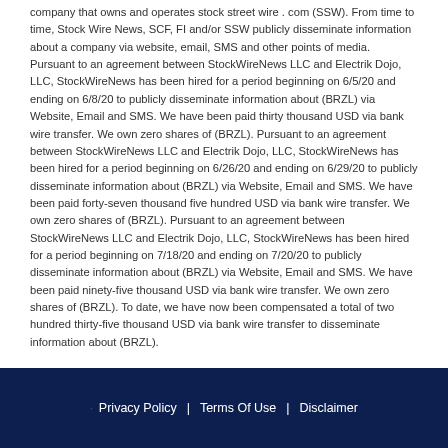company that owns and operates stock street wire . com (SSW). From time to time, Stock Wire News, SCF, FI and/or SSW publicly disseminate information about a company via website, email, SMS and other points of media. Pursuant to an agreement between StockWireNews LLC and Electrik Dojo, LLC, StockWireNews has been hired for a period beginning on 6/5/20 and ending on 6/8/20 to publicly disseminate information about (BRZL) via Website, Email and SMS. We have been paid thirty thousand USD via bank wire transfer. We own zero shares of (BRZL). Pursuant to an agreement between StockWireNews LLC and Electrik Dojo, LLC, StockWireNews has been hired for a period beginning on 6/26/20 and ending on 6/29/20 to publicly disseminate information about (BRZL) via Website, Email and SMS. We have been paid forty-seven thousand five hundred USD via bank wire transfer. We own zero shares of (BRZL). Pursuant to an agreement between StockWireNews LLC and Electrik Dojo, LLC, StockWireNews has been hired for a period beginning on 7/18/20 and ending on 7/20/20 to publicly disseminate information about (BRZL) via Website, Email and SMS. We have been paid ninety-five thousand USD via bank wire transfer. We own zero shares of (BRZL). To date, we have now been compensated a total of two hundred thirty-five thousand USD via bank wire transfer to disseminate information about (BRZL).
Privacy Policy | Terms Of Use | Disclaimer